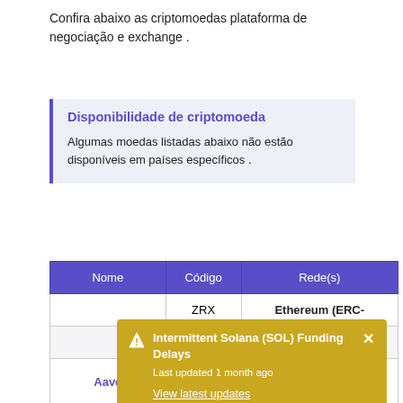Confira abaixo as criptomoedas plataforma de negociação e exchange .
Disponibilidade de criptomoeda
Algumas moedas listadas abaixo não estão disponíveis em países específicos .
| Nome | Código | Rede(s) |
| --- | --- | --- |
|  | ZRX | Ethereum (ERC- |
|  |  | ERC- |
| Aave | AAVE | ERC-20) |
| Aavegotchi | GHST | Ethereum (ERC- |
Intermittent Solana (SOL) Funding Delays
Last updated 1 month ago
View latest updates